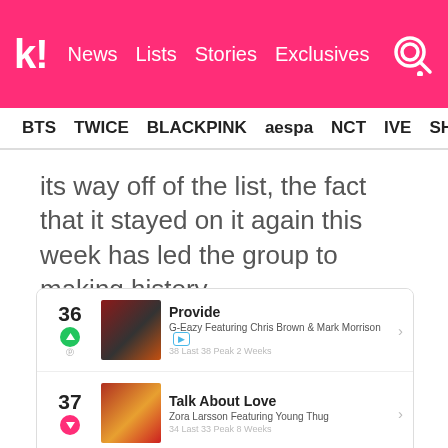koreaboo | News | Lists | Stories | Exclusives
BTS | TWICE | BLACKPINK | aespa | NCT | IVE | SHINE
its way off of the list, the fact that it stayed on it again this week has led the group to making history.
36 Provide – G-Eazy Featuring Chris Brown & Mark Morrison | 38 Last 38 Peak 2 Weeks
37 Talk About Love – Zora Larsson Featuring Young Thug | 34 Last 33 Peak 8 Weeks
38 Star – LOONA | 33 Last 31 Peak 9 Weeks
39 I'm Not Pretty – JESSIA | 38 Last 39 Peak 2 Weeks
Overdrive